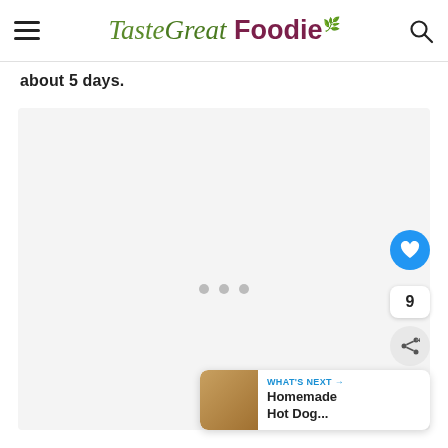TasteGreat Foodie
about 5 days.
[Figure (photo): Large food photo placeholder area with three gray dots in center]
9
WHAT'S NEXT → Homemade Hot Dog...